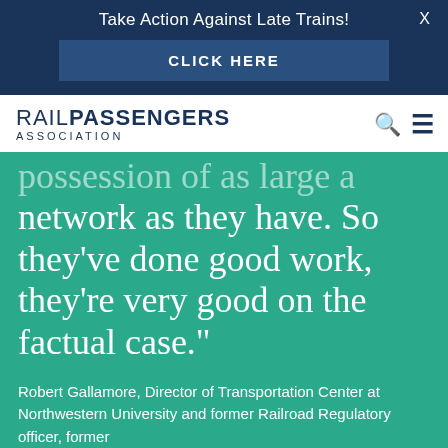Take Action Against Late Trains!
CLICK HERE
[Figure (logo): Rail Passengers Association logo with search and menu icons]
possession of as large a network as they have. So they've done good work, they're very good on the factual case."
Robert Gallamore, Director of Transportation Center at Northwestern University and former Railroad Regulatory officer, former...